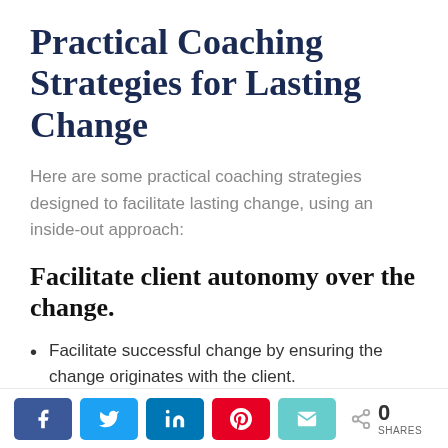Practical Coaching Strategies for Lasting Change
Here are some practical coaching strategies designed to facilitate lasting change, using an inside-out approach:
Facilitate client autonomy over the change.
Facilitate successful change by ensuring the change originates with the client.